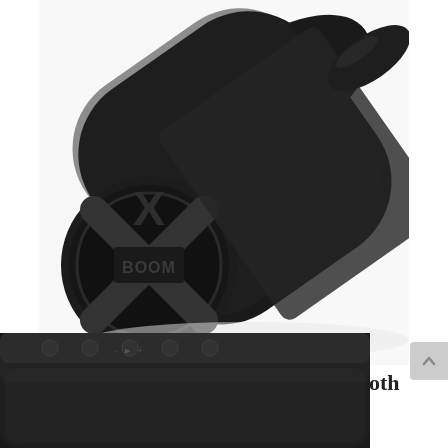[Figure (photo): Close-up photo of a black cylindrical Tribit X-Boom (StormBox) Bluetooth speaker, showing the front end with the X-Boom logo on a circular cap, and fabric mesh body. Speaker is positioned diagonally.]
Tribit X-Boom (StormBox) Bluetooth Speaker Review
October 16, 2018
[Figure (photo): Close-up photo of the top/back of the same black Tribit X-Boom (StormBox) Bluetooth speaker, showing the rectangular top edge with control buttons and fabric mesh texture.]